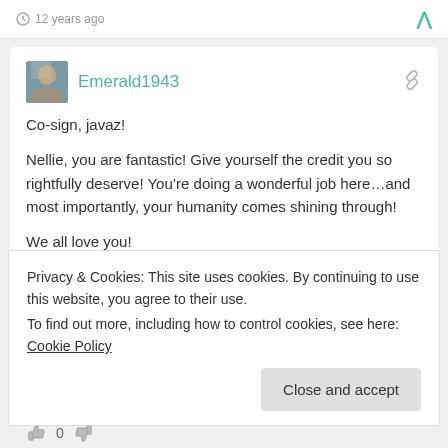12 years ago
Emerald1943
Co-sign, javaz!

Nellie, you are fantastic! Give yourself the credit you so rightfully deserve! You’re doing a wonderful job here…and most importantly, your humanity comes shining through!

We all love you!
0
12 years ago
Privacy & Cookies: This site uses cookies. By continuing to use this website, you agree to their use.
To find out more, including how to control cookies, see here: Cookie Policy
Close and accept